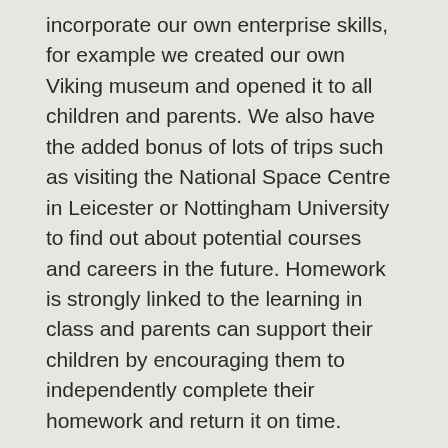incorporate our own enterprise skills, for example we created our own Viking museum and opened it to all children and parents. We also have the added bonus of lots of trips such as visiting the National Space Centre in Leicester or Nottingham University to find out about potential courses and careers in the future. Homework is strongly linked to the learning in class and parents can support their children by encouraging them to independently complete their homework and return it on time.
The current 5/6 team consists of:
FOXES (Year 5): Mrs Martin/ Mrs Dickenson, Mrs Harrison, Miss Hayes, Miss Chapman and Mrs Syson
OWLS (Year 5 and 6): Miss Trew, Mrs Osborne, Mrs Butler and Mrs Fernandez